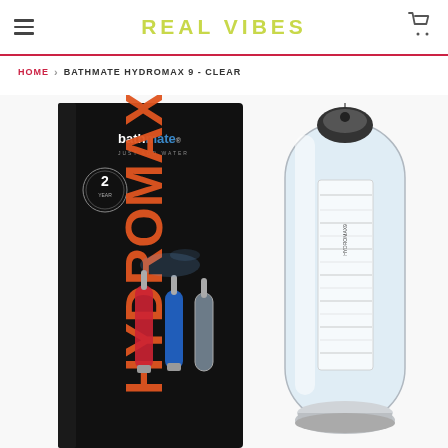REAL VIBES
HOME > BATHMATE HYDROMAX 9 - CLEAR
[Figure (photo): Product photo of Bathmate HydroMax 9 Clear pump beside its black retail box showing the HydroMax9 branding in orange letters, with three colored pump variants (red, blue, clear) shown on the box art. The clear pump is prominent in the foreground.]